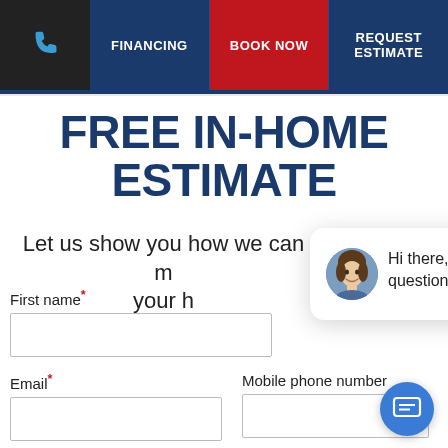FINANCING | BOOK NOW | REQUEST ESTIMATE
FREE IN-HOME ESTIMATE
Let us show you how we can make your h...
First name*
Email*
Mobile phone number
[Figure (screenshot): Chat popup with avatar photo of a woman and text: Hi there, have a question? Text us here. With a close button and blue chat icon button.]